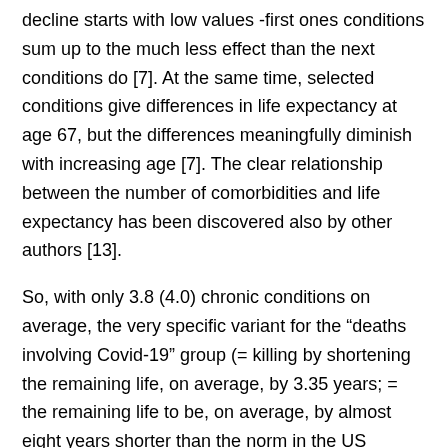decline starts with low values -first ones conditions sum up to the much less effect than the next conditions do [7]. At the same time, selected conditions give differences in life expectancy at age 67, but the differences meaningfully diminish with increasing age [7]. The clear relationship between the number of comorbidities and life expectancy has been discovered also by other authors [13].
So, with only 3.8 (4.0) chronic conditions on average, the very specific variant for the “deaths involving Covid-19” group (= killing by shortening the remaining life, on average, by 3.35 years; = the remaining life to be, on average, by almost eight years shorter than the norm in the US society !) is a fallacy. The state of health of this group was only slightly to moderately worse than the standard one. Further increasing the average number of chronic conditions could